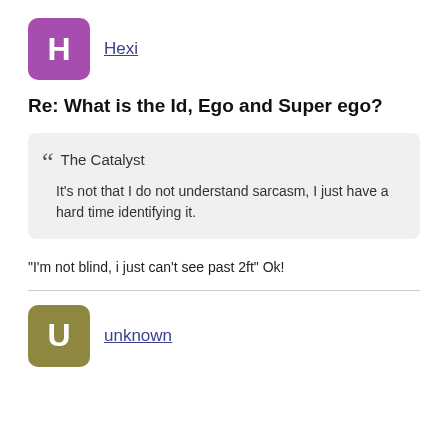[Figure (other): Purple avatar square with letter H and username link 'Hexi']
Re: What is the Id, Ego and Super ego?
The Catalyst
It's not that I do not understand sarcasm, I just have a hard time identifying it.
"I'm not blind, i just can't see past 2ft" Ok!
[Figure (other): Olive/khaki avatar square with letter U and username link 'unknown']